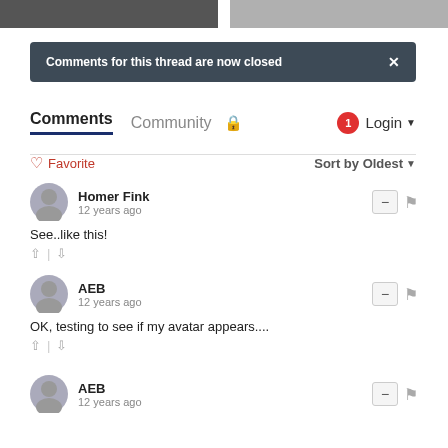[Figure (photo): Two cropped images at top of page: left is dark/shadowed, right is gray]
Comments for this thread are now closed
Comments   Community   🔒   1   Login
♡ Favorite    Sort by Oldest
Homer Fink
12 years ago
See..like this!
AEB
12 years ago
OK, testing to see if my avatar appears....
AEB
12 years ago